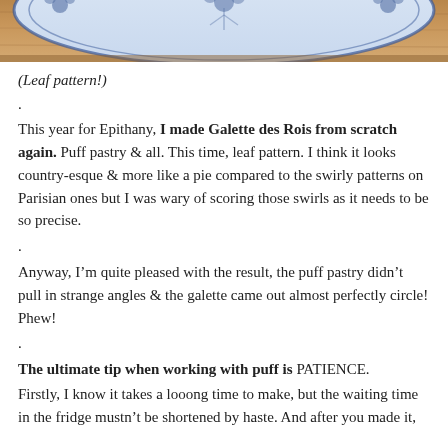[Figure (photo): Close-up photo of a blue and white decorative plate with leaf/floral pattern, on a wooden surface]
(Leaf pattern!)
.

This year for Epithany, I made Galette des Rois from scratch again. Puff pastry & all. This time, leaf pattern. I think it looks country-esque & more like a pie compared to the swirly patterns on Parisian ones but I was wary of scoring those swirls as it needs to be so precise.

.

Anyway, I'm quite pleased with the result, the puff pastry didn't pull in strange angles & the galette came out almost perfectly circle! Phew!

.

The ultimate tip when working with puff is PATIENCE.
Firstly, I know it takes a looong time to make, but the waiting time in the fridge mustn't be shortened by haste. And after you made it,